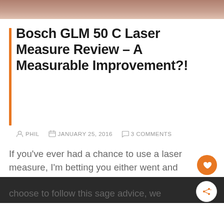[Figure (photo): Partial photo strip at the top of the page, showing a cropped image (skin tones and dark elements visible).]
Bosch GLM 50 C Laser Measure Review – A Measurable Improvement?!
PHIL   JANUARY 25, 2016   3 COMMENTS
If you've ever had a chance to use a laser measure, I'm betting you either went and bought one shortly afterward, or you're thinking of how to justify the purchase to your significant other. (HomeFixated Insider Tip: After many years of marriage, I have determined that it's easier to get forgiveness than permission. Now the fine print: If you choose to follow this sage advice, we